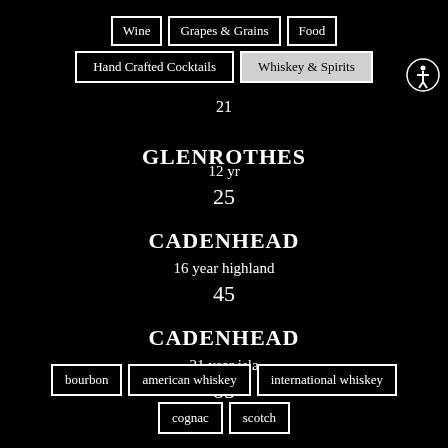Wine | Grapes & Grains | Food | Hand Crafted Cocktails | Whiskey & Spirits
21
GLENROTHES
12 yr
25
CADENHEAD
16 year highland
45
CADENHEAD
21 year isla
85
bourbon | american whiskey | international whiskey | cognac | scotch